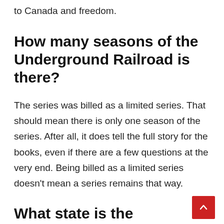to Canada and freedom.
How many seasons of the Underground Railroad is there?
The series was billed as a limited series. That should mean there is only one season of the series. After all, it does tell the full story for the books, even if there are a few questions at the very end. Being billed as a limited series doesn't mean a series remains that way.
What state is the